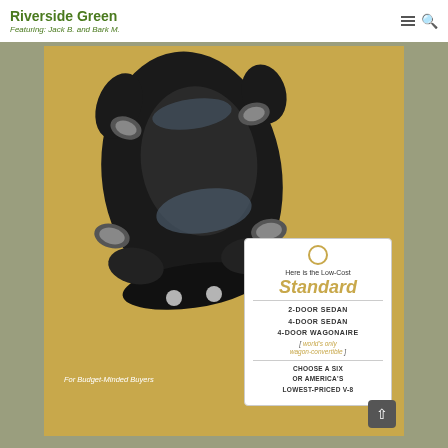Riverside Green
Featuring: Jack B. and Bark M.
[Figure (photo): Vintage automobile advertisement showing a top-down view of a black classic car on a golden/tan background. A white price tag graphic overlays the lower right, reading: Here is the Low-Cost Standard / 2-Door Sedan / 4-Door Sedan / 4-Door Wagonaire [world's only wagon-convertible] / Choose a Six or America's Lowest-Priced V-8. Text 'For Budget-Minded Buyers' appears in white italics at the lower left.]